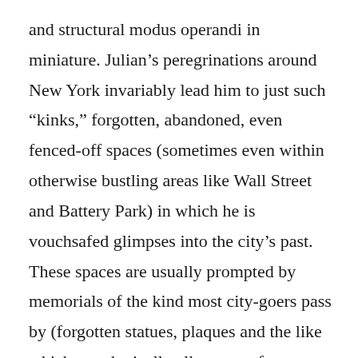and structural modus operandi in miniature. Julian’s peregrinations around New York invariably lead him to just such “kinks,” forgotten, abandoned, even fenced-off spaces (sometimes even within otherwise bustling areas like Wall Street and Battery Park) in which he is vouchsafed glimpses into the city’s past. These spaces are usually prompted by memorials of the kind most city-goers pass by (forgotten statues, plaques and the like which paradoxically allow us to forget what they memorialize), but sometimes they are summoned by memories of things he’s read or studied. Frequently these places and moments are connected to the city’s painful relation to